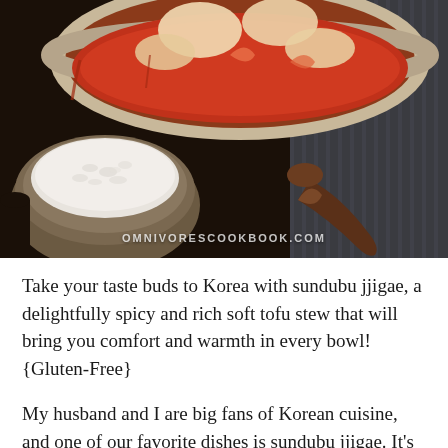[Figure (photo): Overhead food photography showing a Korean earthenware pot (dolsot) filled with sundubu jjigae (spicy soft tofu stew) with tofu and seafood in red broth, a bowl of white rice, and a wooden spoon on a striped cloth background. Watermark reads OMNIVORESCOOKBOOK.COM]
Take your taste buds to Korea with sundubu jjigae, a delightfully spicy and rich soft tofu stew that will bring you comfort and warmth in every bowl! {Gluten-Free}
My husband and I are big fans of Korean cuisine, and one of our favorite dishes is sundubu jjigae. It's a Korean soft tofu stew that's a bit spicy in the most delightful way. The